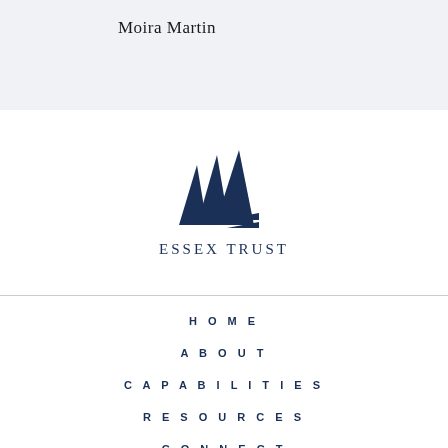Moira Martin
[Figure (logo): Essex Trust logo with three triangular sail shapes above the text 'Essex Trust']
HOME
ABOUT
CAPABILITIES
RESOURCES
CONNECT